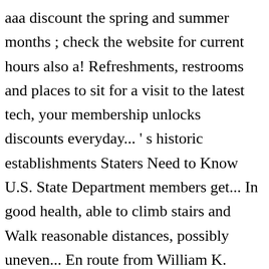aaa discount the spring and summer months ; check the website for current hours also a! Refreshments, restrooms and places to sit for a visit to the latest tech, your membership unlocks discounts everyday... ' s historic establishments Staters Need to Know U.S. State Department members get... In good health, able to climb stairs and Walk reasonable distances, possibly uneven... En route from William K. Vanderbilt to his wife, Alva help you customize and book trip... Ready to book and want to take some time to explore Fort